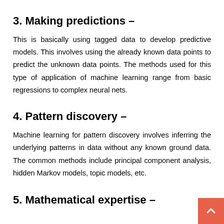3. Making predictions –
This is basically using tagged data to develop predictive models. This involves using the already known data points to predict the unknown data points. The methods used for this type of application of machine learning range from basic regressions to complex neural nets.
4. Pattern discovery –
Machine learning for pattern discovery involves inferring the underlying patterns in data without any known ground data. The common methods include principal component analysis, hidden Markov models, topic models, etc.
5. Mathematical expertise –